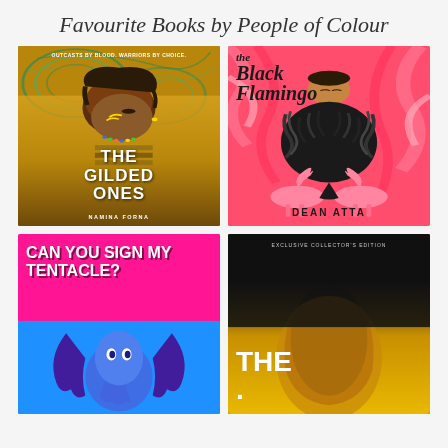Favourite Books by People of Colour
[Figure (illustration): Book cover of 'The Gilded Ones' by Namina Forna. Features a Black girl in profile with golden face markings, beaded necklace, and braided hair against a gold and teal patterned background. Tagline reads 'OUTCASTS BY BLOOD. WARRIORS BY CHOICE.']
[Figure (illustration): Book cover of 'The Black Flamingo' by Dean Atta. Features a person with closed eyes wearing a large feathered black costume, surrounded by pink flamingos against a vibrant pink background.]
[Figure (illustration): Book cover of 'Can You Sign My Tentacle?' with bold white uppercase text against a bright pink and blue background featuring illustrated octopus/tentacle imagery.]
[Figure (illustration): Book cover labeled 'EXCLUSIVE COLLECTOR'S EDITION' showing a close-up face partially visible, with 'THE' in large white text at the bottom, against a dark background with golden tones.]